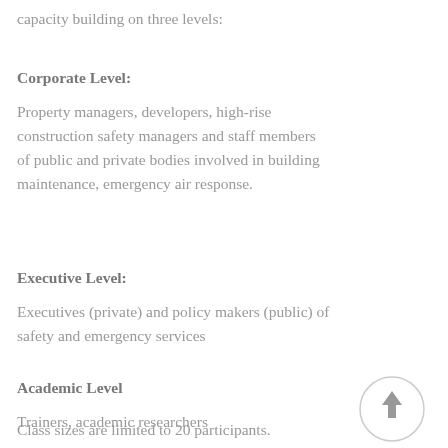capacity building on three levels:
Corporate Level:
Property managers, developers, high-rise construction safety managers and staff members of public and private bodies involved in building maintenance, emergency air response.
Executive Level:
Executives (private) and policy makers (public) of safety and emergency services
Academic Level
Trainers, academic researchers
[Figure (illustration): A circular button with an upward arrow icon]
Class sizes are limited to 20 participants.